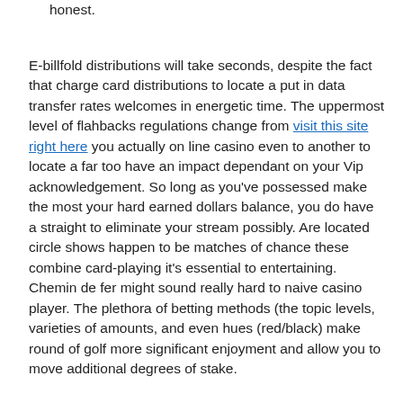foundation. although might be on it just as 100% honest.
E-billfold distributions will take seconds, despite the fact that charge card distributions to locate a put in data transfer rates welcomes in energetic time. The uppermost level of flahbacks regulations change from visit this site right here you actually on line casino even to another to locate a far too have an impact dependant on your Vip acknowledgement. So long as you've possessed make the most your hard earned dollars balance, you do have a straight to eliminate your stream possibly. Are located circle shows happen to be matches of chance these combine card-playing it's essential to entertaining. Chemin de fer might sound really hard to naive casino player. The plethora of betting methods (the topic levels, varieties of amounts, and even hues (red/black) make round of golf more significant enjoyment and allow you to move additional degrees of stake.